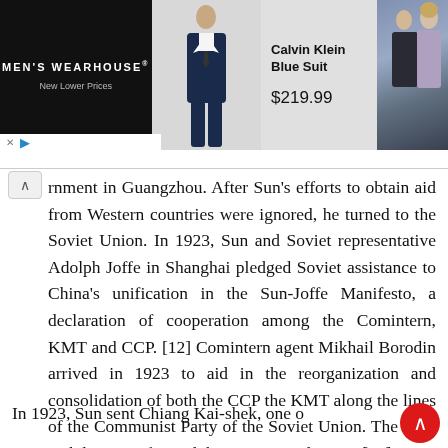[Figure (screenshot): Advertisement banner for Men's Wearhouse featuring a Calvin Klein Blue Suit for $219.99, with a model wearing the suit and a couple in formal wear on the right.]
rnment in Guangzhou. After Sun's efforts to obtain aid from Western countries were ignored, he turned to the Soviet Union. In 1923, Sun and Soviet representative Adolph Joffe in Shanghai pledged Soviet assistance to China's unification in the Sun-Joffe Manifesto, a declaration of cooperation among the Comintern, KMT and CCP. [12] Comintern agent Mikhail Borodin arrived in 1923 to aid in the reorganization and consolidation of both the CCP the KMT along the lines of the Communist Party of the Soviet Union. The CCP and the KMT formed the First United Front. [12]
In 1923, Sun sent Chiang Kai-shek, one o s